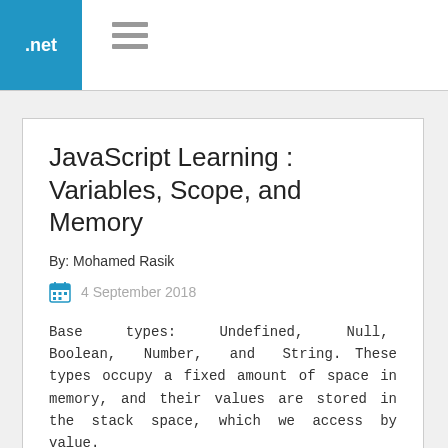.net
JavaScript Learning : Variables, Scope, and Memory
By: Mohamed Rasik
4 September 2018
Base types: Undefined, Null, Boolean, Number, and String. These types occupy a fixed amount of space in memory, and their values are stored in the stack space, which we access by value.
Read More